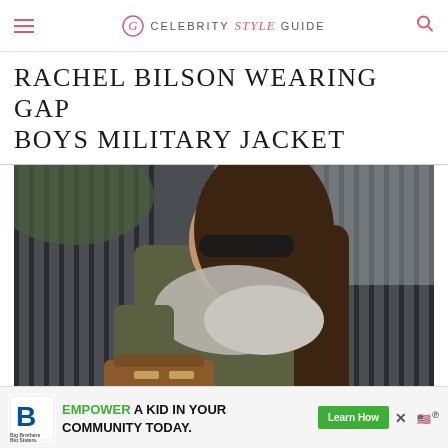CELEBRITY style GUIDE
RACHEL BILSON WEARING GAP BOYS MILITARY JACKET
[Figure (photo): Rachel Bilson photographed outdoors wearing a green military jacket, grey scarf, and carrying a brown handbag, with a metal fence in the background]
[Figure (infographic): Advertisement banner: Big Brothers Big Sisters logo with text 'EMPOWER A KID IN YOUR COMMUNITY TODAY.' and 'Learn How' button]